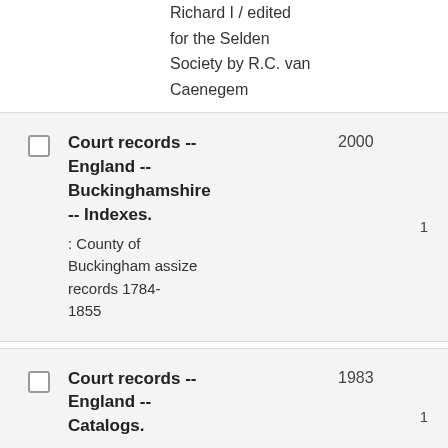Richard I / edited for the Selden Society by R.C. van Caenegem
Court records -- England -- Buckinghamshire -- Indexes. : County of Buckingham assize records 1784-1855 | Year: 2000 | Count: 1
Court records -- England -- Catalogs. : Quarter sessions | Year: 1983 | Count: 1